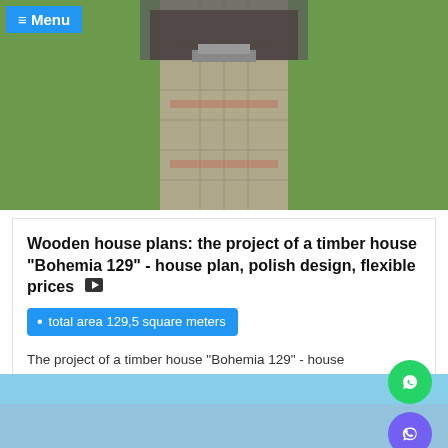[Figure (photo): Exterior photo of a wooden house with a paved pathway, garden, and greenery]
≡ Menu
Wooden house plans: the project of a timber house "Bohemia 129" - house plan, polish design, flexible prices
total area 129,5 square meters
The project of a timber house "Bohemia 129" - house plan, polish design, flexible prices Looking for a nice house to live in? That's the variant you won't be able to resist! "Bohemia 129" is a house where you'll feel comfortable, where you'll be ...
[Figure (photo): Partial bottom image, blue sky and house structure visible]